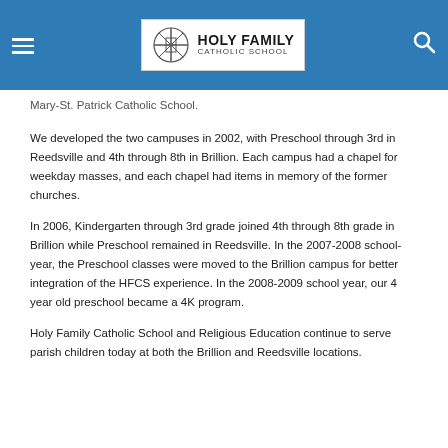Holy Family Catholic School
Mary-St. Patrick Catholic School.
We developed the two campuses in 2002, with Preschool through 3rd in Reedsville and 4th through 8th in Brillion. Each campus had a chapel for weekday masses, and each chapel had items in memory of the former churches.
In 2006, Kindergarten through 3rd grade joined 4th through 8th grade in Brillion while Preschool remained in Reedsville. In the 2007-2008 school-year, the Preschool classes were moved to the Brillion campus for better integration of the HFCS experience. In the 2008-2009 school year, our 4 year old preschool became a 4K program.
Holy Family Catholic School and Religious Education continue to serve parish children today at both the Brillion and Reedsville locations.